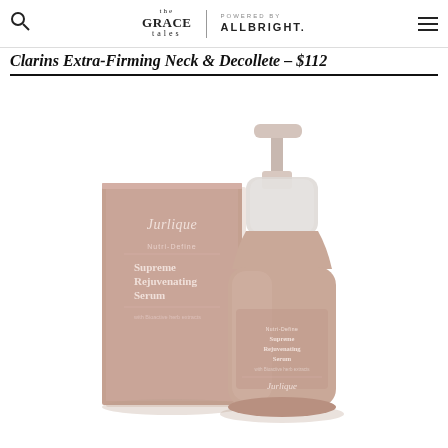the GRACE tales | POWERED BY ALLBRIGHT.
Clarins Extra-Firming Neck & Decollete – $112
[Figure (photo): Jurlique Nutri-Define Supreme Rejuvenating Serum product photo showing the box packaging and bottle with pump dispenser in rose gold/mauve tones]